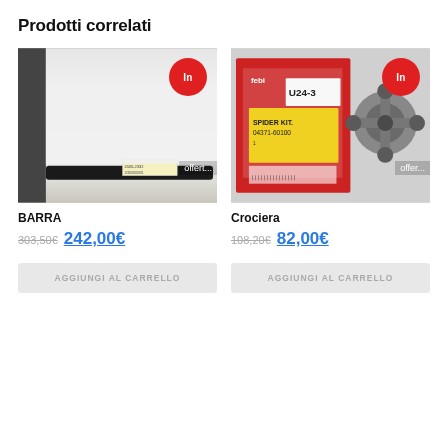Prodotti correlati
[Figure (photo): Photo of BARRA product (a black rubber/plastic bar with a label sticker), with a red badge reading 'In' and 'offerta' text overlay]
[Figure (photo): Photo of Crociera product (a spider/cross joint kit with red Febi box and metal cross joint visible), with a red badge reading 'In' and 'offerta' text overlay]
BARRA
Crociera
303,50€ 242,00€
108,20€ 82,00€
AGGIUNGI AL CARRELLO
AGGIUNGI AL CARRELLO